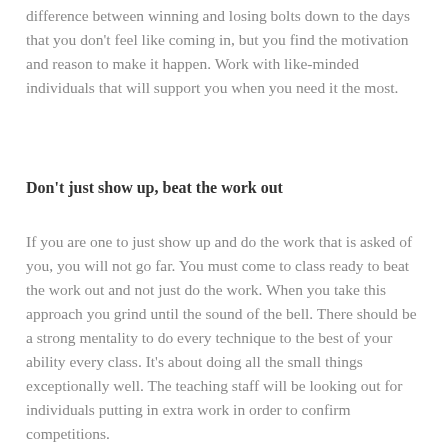difference between winning and losing bolts down to the days that you don't feel like coming in, but you find the motivation and reason to make it happen. Work with like-minded individuals that will support you when you need it the most.
Don't just show up, beat the work out
If you are one to just show up and do the work that is asked of you, you will not go far. You must come to class ready to beat the work out and not just do the work. When you take this approach you grind until the sound of the bell. There should be a strong mentality to do every technique to the best of your ability every class. It's about doing all the small things exceptionally well. The teaching staff will be looking out for individuals putting in extra work in order to confirm competitions.